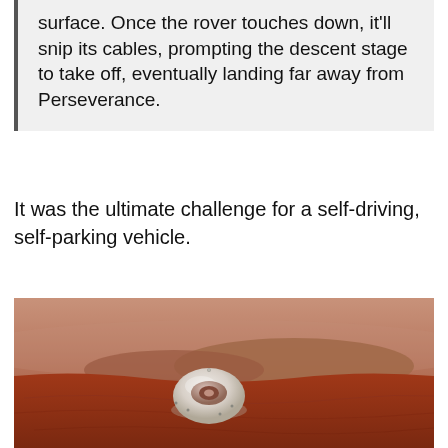surface. Once the rover touches down, it'll snip its cables, prompting the descent stage to take off, eventually landing far away from Perseverance.
It was the ultimate challenge for a self-driving, self-parking vehicle.
[Figure (photo): Illustration/rendering of a white dome-shaped spacecraft capsule (Mars entry vehicle) descending over a red Martian landscape with hills and haze in the background.]